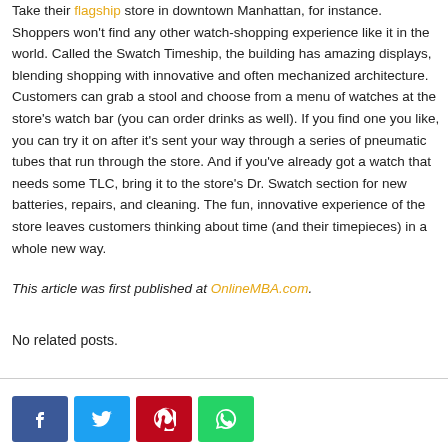Take their flagship store in downtown Manhattan, for instance. Shoppers won't find any other watch-shopping experience like it in the world. Called the Swatch Timeship, the building has amazing displays, blending shopping with innovative and often mechanized architecture. Customers can grab a stool and choose from a menu of watches at the store's watch bar (you can order drinks as well). If you find one you like, you can try it on after it's sent your way through a series of pneumatic tubes that run through the store. And if you've already got a watch that needs some TLC, bring it to the store's Dr. Swatch section for new batteries, repairs, and cleaning. The fun, innovative experience of the store leaves customers thinking about time (and their timepieces) in a whole new way.
This article was first published at OnlineMBA.com.
No related posts.